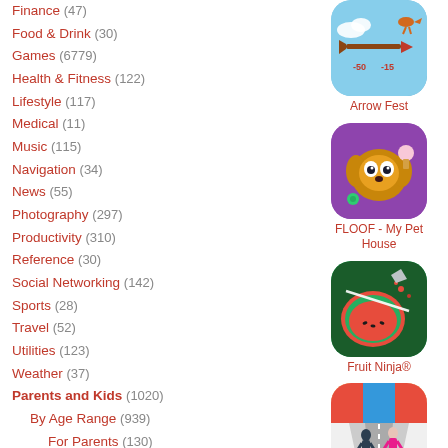Finance (47)
Food & Drink (30)
Games (6779)
Health & Fitness (122)
Lifestyle (117)
Medical (11)
Music (115)
Navigation (34)
News (55)
Photography (297)
Productivity (310)
Reference (30)
Social Networking (142)
Sports (28)
Travel (52)
Utilities (123)
Weather (37)
Parents and Kids (1020)
By Age Range (939)
For Parents (130)
High School + (110)
Middle School (146)
Preschool (847)
Primary School (733)
[Figure (screenshot): Arrow Fest app icon - game with arrows on blue sky background]
Arrow Fest
[Figure (screenshot): FLOOF - My Pet House app icon - cute dog on purple background]
FLOOF - My Pet House
[Figure (screenshot): Fruit Ninja app icon - sliced watermelon on green background]
Fruit Ninja®
[Figure (screenshot): Dancing Race app icon - two characters racing on colorful road]
Dancing Race